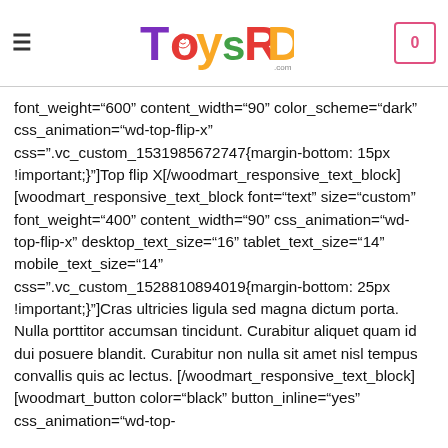[Figure (logo): ToysRD colorful logo with smiley face]
font_weight="600" content_width="90" color_scheme="dark" css_animation="wd-top-flip-x" css=".vc_custom_1531985672747{margin-bottom: 15px !important;}"]Top flip X[/woodmart_responsive_text_block] [woodmart_responsive_text_block font="text" size="custom" font_weight="400" content_width="90" css_animation="wd-top-flip-x" desktop_text_size="16" tablet_text_size="14" mobile_text_size="14" css=".vc_custom_1528810894019{margin-bottom: 25px !important;}"]Cras ultricies ligula sed magna dictum porta. Nulla porttitor accumsan tincidunt. Curabitur aliquet quam id dui posuere blandit. Curabitur non nulla sit amet nisl tempus convallis quis ac lectus. [/woodmart_responsive_text_block][woodmart_button color="black" button_inline="yes" css_animation="wd-top-